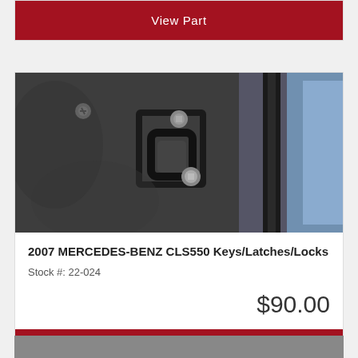View Part
[Figure (photo): Close-up photo of a car latch/lock mechanism on a Mercedes-Benz CLS550, showing metal hardware bolted to a dark surface with a strut visible on the right side]
2007 MERCEDES-BENZ CLS550 Keys/Latches/Locks
Stock #: 22-024
$90.00
View Part